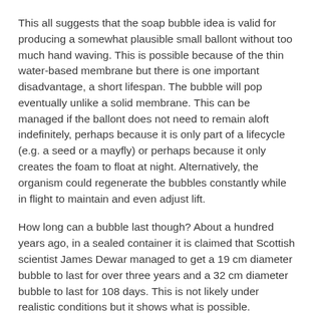This all suggests that the soap bubble idea is valid for producing a somewhat plausible small ballont without too much hand waving. This is possible because of the thin water-based membrane but there is one important disadvantage, a short lifespan. The bubble will pop eventually unlike a solid membrane. This can be managed if the ballont does not need to remain aloft indefinitely, perhaps because it is only part of a lifecycle (e.g. a seed or a mayfly) or perhaps because it only creates the foam to float at night. Alternatively, the organism could regenerate the bubbles constantly while in flight to maintain and even adjust lift.
How long can a bubble last though? About a hundred years ago, in a sealed container it is claimed that Scottish scientist James Dewar managed to get a 19 cm diameter bubble to last for over three years and a 32 cm diameter bubble to last for 108 days. This is not likely under realistic conditions but it shows what is possible.
Bubbles burst when the membrane becomes too thin as the water in the membrane flows to the bottom of the bubble or it